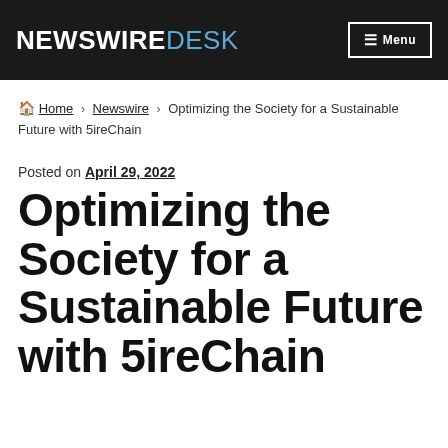NewswireDesk — Menu
Home › Newswire › Optimizing the Society for a Sustainable Future with 5ireChain
Posted on April 29, 2022
Optimizing the Society for a Sustainable Future with 5ireChain